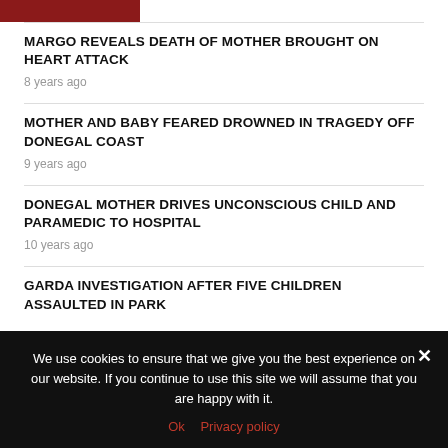[Figure (photo): Partial red/dark image strip at top left]
MARGO REVEALS DEATH OF MOTHER BROUGHT ON HEART ATTACK
8 years ago
MOTHER AND BABY FEARED DROWNED IN TRAGEDY OFF DONEGAL COAST
9 years ago
DONEGAL MOTHER DRIVES UNCONSCIOUS CHILD AND PARAMEDIC TO HOSPITAL
10 years ago
GARDA INVESTIGATION AFTER FIVE CHILDREN ASSAULTED IN PARK
We use cookies to ensure that we give you the best experience on our website. If you continue to use this site we will assume that you are happy with it.
Ok   Privacy policy